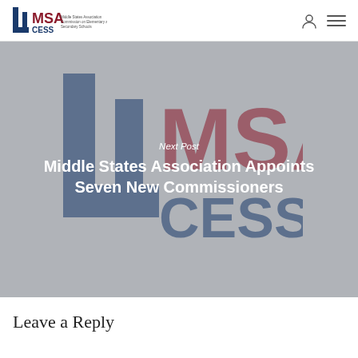MSA-CESS Middle States Association Commission on Elementary and Secondary Schools
[Figure (logo): MSA-CESS website screenshot showing a navigation post card with the MSA-CESS logo on a grey background and overlaid text reading 'Next Post - Middle States Association Appoints Seven New Commissioners']
Next Post
Middle States Association Appoints Seven New Commissioners
Leave a Reply